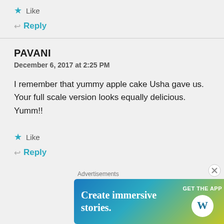★ Like
↩ Reply
PAVANI
December 6, 2017 at 2:25 PM
I remember that yummy apple cake Usha gave us. Your full scale version looks equally delicious. Yumm!!
★ Like
↩ Reply
[Figure (screenshot): Advertisement banner for WordPress app: 'Create immersive stories. GET THE APP' with WordPress logo on gradient blue-green-yellow background]